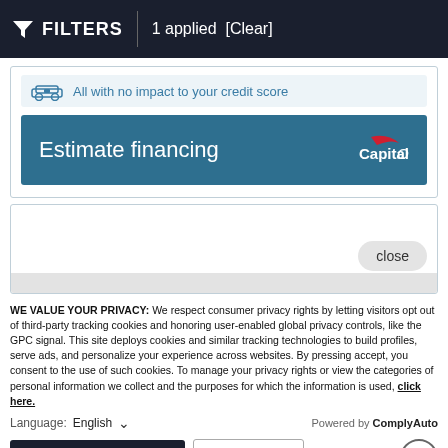FILTERS | 1 applied [Clear]
[Figure (screenshot): Capital One Estimate financing card with credit score notice and blue button]
[Figure (screenshot): Modal overlay area with close button and grey bottom bar]
WE VALUE YOUR PRIVACY: We respect consumer privacy rights by letting visitors opt out of third-party tracking cookies and honoring user-enabled global privacy controls, like the GPC signal. This site deploys cookies and similar tracking technologies to build profiles, serve ads, and personalize your experience across websites. By pressing accept, you consent to the use of such cookies. To manage your privacy rights or view the categories of personal information we collect and the purposes for which the information is used, click here.
Language:   English   ∨   Powered by ComplyAuto
Accept and Continue →   Privacy Policy   ×